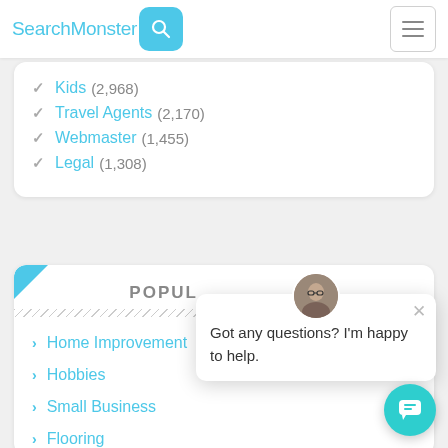SearchMonster [search icon] [hamburger menu]
Kids (2,968)
Travel Agents (2,170)
Webmaster (1,455)
Legal (1,308)
POPULAR
Home Improvement
Hobbies
Small Business
Flooring
Got any questions? I'm happy to help.